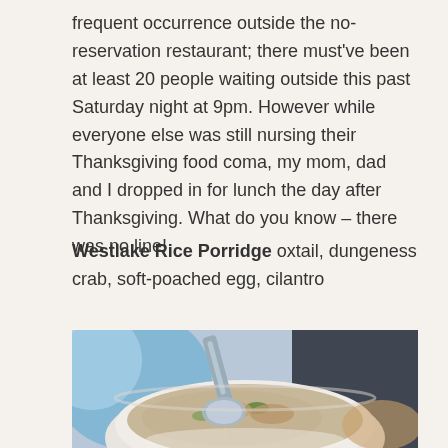frequent occurrence outside the no-reservation restaurant; there must've been at least 20 people waiting outside this past Saturday night at 9pm. However while everyone else was still nursing their Thanksgiving food coma, my mom, dad and I dropped in for lunch the day after Thanksgiving. What do you know – there was no line!
Westlake Rice Porridge oxtail, dungeness crab, soft-poached egg, cilantro
[Figure (photo): Close-up photograph of a white bowl containing rice porridge (congee) with a metal ladle/spoon resting in it, garnished with herbs. Blurred background with blue and dark tones.]